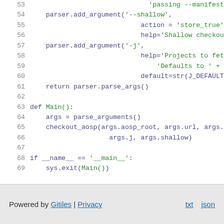[Figure (screenshot): Python source code snippet showing lines 53-69. Lines include parser.add_argument calls for --shallow and -j flags, a Main() function definition, and an if __name__ == '__main__': block.]
Powered by Gitiles | Privacy    txt  json